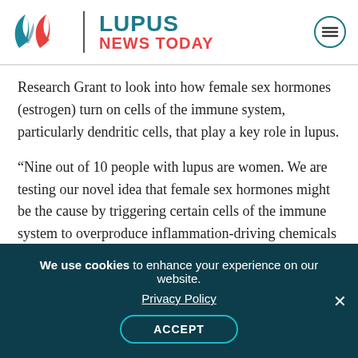Lupus News Today
Research Grant to look into how female sex hormones (estrogen) turn on cells of the immune system, particularly dendritic cells, that play a key role in lupus.
“Nine out of 10 people with lupus are women. We are testing our novel idea that female sex hormones might be the cause by triggering certain cells of the immune system to overproduce inflammation-driving chemicals known as interferons. If we are correct our work could identify new drug targets in lupus,” Galluci said in a
We use cookies to enhance your experience on our website. Privacy Policy ACCEPT